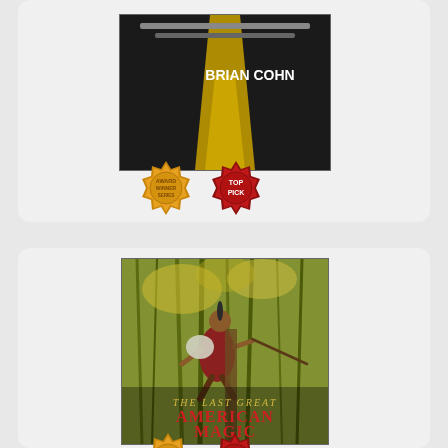[Figure (illustration): Top card showing a book cover by Brian Cohn with a dark/yellow road background, with a gold wax seal badge and a red 'TOP PICK' wax seal badge overlapping the bottom of the cover.]
[Figure (illustration): Bottom card showing the book cover 'The Last Great American Magic' by L.C. Fiore, featuring a Native American figure climbing a tree in a forest, holding a rifle. Title text in red/gold at bottom of cover. Two badge seals partially visible at bottom.]